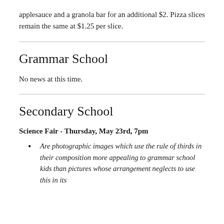applesauce and a granola bar for an additional $2. Pizza slices remain the same at $1.25 per slice.
Grammar School
No news at this time.
Secondary School
Science Fair - Thursday, May 23rd, 7pm
Are photographic images which use the rule of thirds in their composition more appealing to grammar school kids than pictures whose arrangement neglects to use this in its